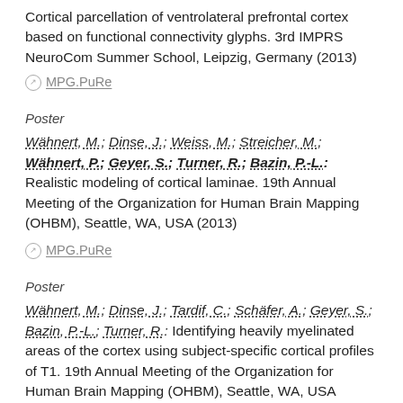Cortical parcellation of ventrolateral prefrontal cortex based on functional connectivity glyphs. 3rd IMPRS NeuroCom Summer School, Leipzig, Germany (2013)
MPG.PuRe
Poster
Wähnert, M.; Dinse, J.; Weiss, M.; Streicher, M.; Wähnert, P.; Geyer, S.; Turner, R.; Bazin, P.-L.: Realistic modeling of cortical laminae. 19th Annual Meeting of the Organization for Human Brain Mapping (OHBM), Seattle, WA, USA (2013)
MPG.PuRe
Poster
Wähnert, M.; Dinse, J.; Tardif, C.; Schäfer, A.; Geyer, S.; Bazin, P.-L.; Turner, R.: Identifying heavily myelinated areas of the cortex using subject-specific cortical profiles of T1. 19th Annual Meeting of the Organization for Human Brain Mapping (OHBM), Seattle, WA, USA (2013)